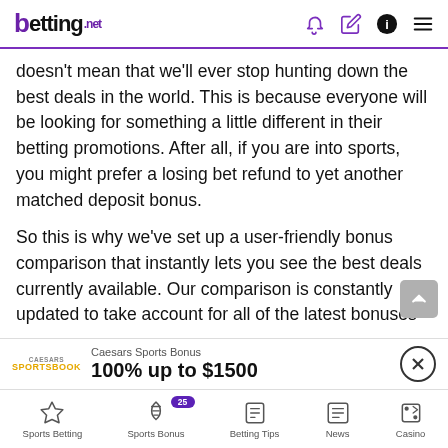betting.net
doesn't mean that we'll ever stop hunting down the best deals in the world. This is because everyone will be looking for something a little different in their betting promotions. After all, if you are into sports, you might prefer a losing bet refund to yet another matched deposit bonus.
So this is why we've set up a user-friendly bonus comparison that instantly lets you see the best deals currently available. Our comparison is constantly updated to take account for all of the latest bonuses
[Figure (screenshot): Caesars Sports Bonus advertisement: 100% up to $1500]
Sports Betting | Sports Bonus (25) | Betting Tips | News | Casino